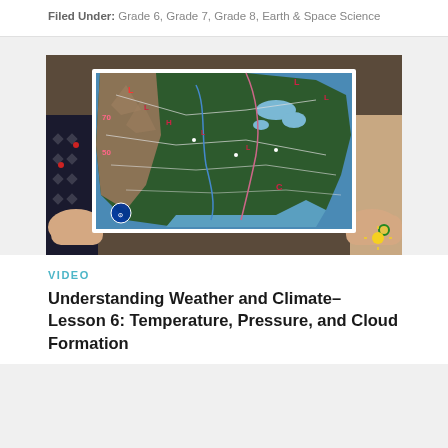Filed Under: Grade 6, Grade 7, Grade 8, Earth & Space Science
[Figure (photo): Person holding a NOAA weather map of the United States showing fronts, pressure systems, and weather patterns]
VIDEO
Understanding Weather and Climate– Lesson 6: Temperature, Pressure, and Cloud Formation